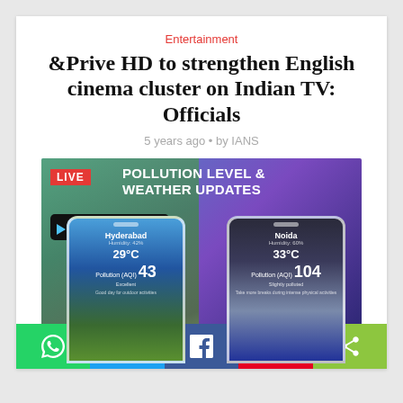Entertainment
&Prive HD to strengthen English cinema cluster on Indian TV: Officials
5 years ago • by IANS
[Figure (screenshot): Live Pollution Level & Weather Updates Android app advertisement showing two smartphones with Hyderabad (29°C, AQI 43 Excellent) and Noida (33°C, AQI 104 Slightly polluted) weather data, with Google Play download button and LIVE badge]
[Figure (other): Social share bar with WhatsApp (green), Twitter (blue), Facebook (dark blue), Pinterest (red), and share (light green) buttons]